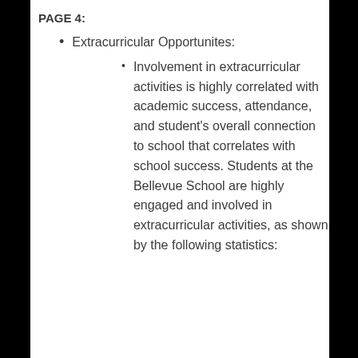PAGE 4:
Extracurricular Opportunites:
Involvement in extracurricular activities is highly correlated with academic success, attendance, and student's overall connection to school that correlates with school success.  Students at the Bellevue School are highly engaged and involved in extracurricular activities, as shown by the following statistics: